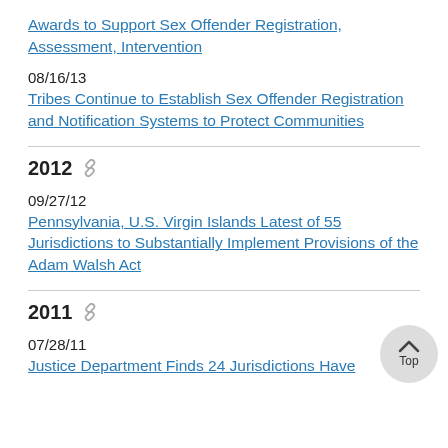Awards to Support Sex Offender Registration, Assessment, Intervention
08/16/13
Tribes Continue to Establish Sex Offender Registration and Notification Systems to Protect Communities
2012
09/27/12
Pennsylvania, U.S. Virgin Islands Latest of 55 Jurisdictions to Substantially Implement Provisions of the Adam Walsh Act
2011
07/28/11
Justice Department Finds 24 Jurisdictions Have